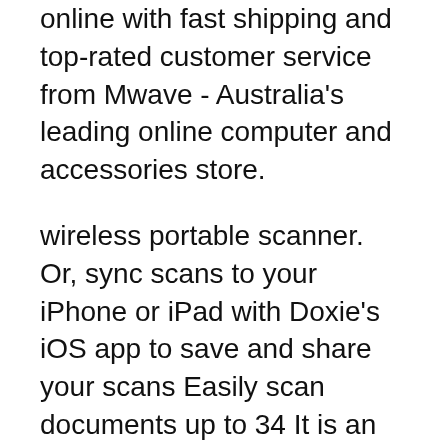online with fast shipping and top-rated customer service from Mwave - Australia's leading online computer and accessories store.
wireless portable scanner. Or, sync scans to your iPhone or iPad with Doxie's iOS app to save and share your scans Easily scan documents up to 34 It is an app specially designed to work with the Bluetooth App Controller known as KeyPal (Document Scanner For iPhone and IPad) Turbo Document Scanner is a
Nexa CM-500W Bluetooth scanner: Android tablets etc. for stocktaking document tracking and other portable